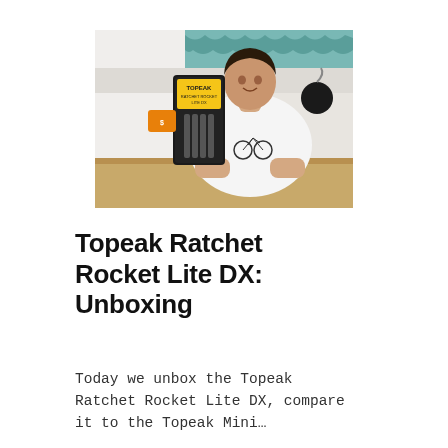[Figure (photo): A man holding up a Topeak Ratchet Rocket Lite DX multi-tool in its packaging, sitting at a wooden table. He is wearing a white t-shirt with a bicycle graphic. The background shows a white wall, a teal/chevron patterned fabric, and a black hook/bag on the right side.]
Topeak Ratchet Rocket Lite DX: Unboxing
Today we unbox the Topeak Ratchet Rocket Lite DX, compare it to the Topeak Mini…